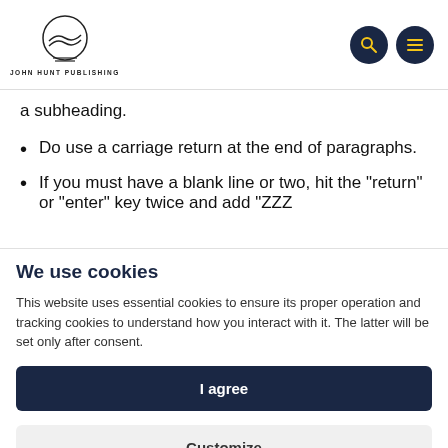JOHN HUNT PUBLISHING
a subheading.
Do use a carriage return at the end of paragraphs.
If you must have a blank line or two, hit the "return" or "enter" key twice and add “ZZZ
We use cookies
This website uses essential cookies to ensure its proper operation and tracking cookies to understand how you interact with it. The latter will be set only after consent.
I agree
Customize